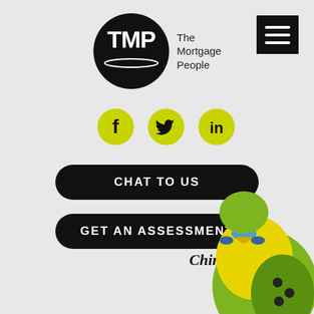[Figure (logo): TMP The Mortgage People logo — black circle with white TMP letters, followed by text 'The Mortgage People']
[Figure (infographic): Hamburger menu icon — black square with three white horizontal lines]
[Figure (infographic): Three yellow/lime circular social media icons: Facebook (f), Twitter (bird), LinkedIn (in)]
CHAT TO US
GET AN ASSESSMENT
Chirpy
[Figure (photo): Close-up photo of a yellow-green budgerigar (parakeet) named Chirpy, partially visible at bottom right corner]